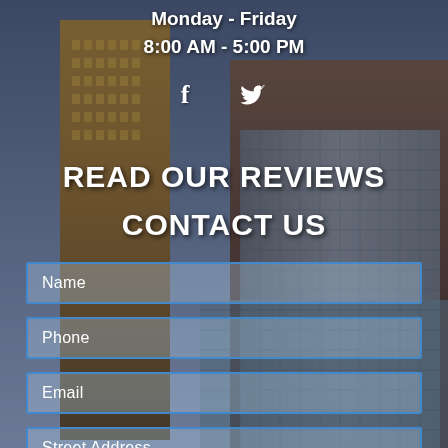Monday - Friday
8:00 AM - 5:00 PM
[Figure (illustration): Social media icons: Facebook (f) and Twitter (bird) in white]
[Figure (photo): City skyline background with tall office buildings at dusk/dawn, brownstone and glass skyscrapers]
READ OUR REVIEWS
CONTACT US
Name
Phone
Email
Street Address